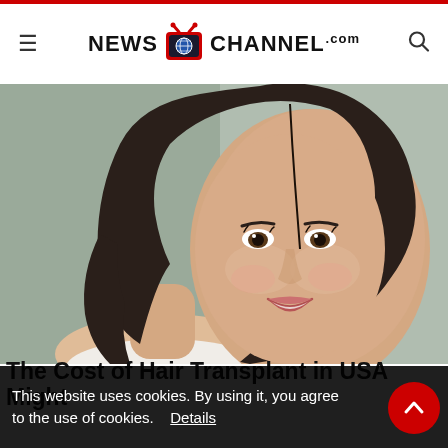NEWS CHANNEL.com
[Figure (photo): Young woman with long dark straight hair smiling, bare shoulders, on a gray-green background — beauty/hair photo]
The Cost of Hair Transplant in USA Might
This website uses cookies. By using it, you agree to the use of cookies.  Details